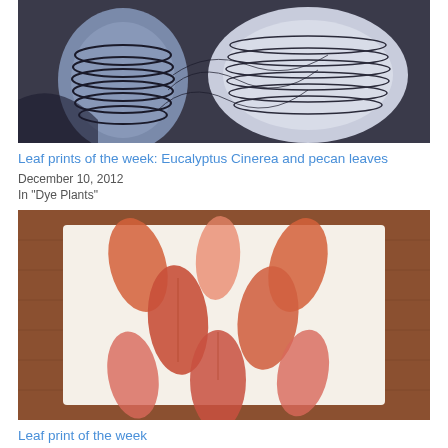[Figure (photo): Close-up of rolled fabric or yarn bundles in a dark liquid dye bath, showing spiral patterns in blue-grey and black tones.]
Leaf prints of the week: Eucalyptus Cinerea and pecan leaves
December 10, 2012
In "Dye Plants"
[Figure (photo): Leaf print artwork on fabric showing orange/coral leaf silhouettes arranged in a pattern against a white or cream background with a wooden surface beneath.]
Leaf print of the week
February 19, 2014